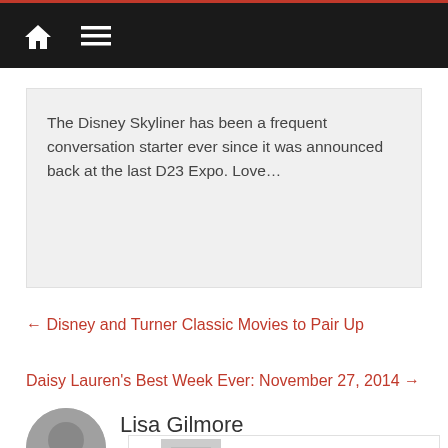Navigation bar with home and menu icons
The Disney Skyliner has been a frequent conversation starter ever since it was announced back at the last D23 Expo. Love…
← Disney and Turner Classic Movies to Pair Up
Daisy Lauren's Best Week Ever: November 27, 2014 →
Lisa Gilmore
[Figure (other): Advertisement banner: Rhinestone Chunky High Heel Mules... from Tinstree.com with Learn More link]